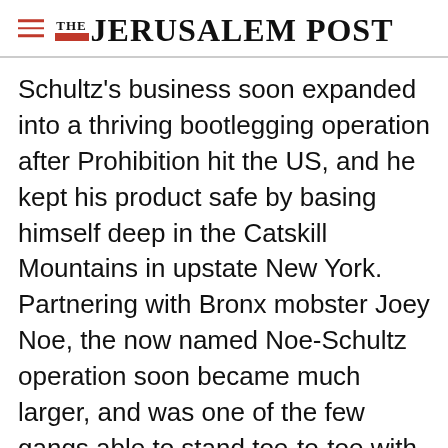THE JERUSALEM POST
Schultz's business soon expanded into a thriving bootlegging operation after Prohibition hit the US, and he kept his product safe by basing himself deep in the Catskill Mountains in upstate New York. Partnering with Bronx mobster Joey Noe, the now named Noe-Schultz operation soon became much larger, and was one of the few gangs able to stand toe-to-toe with the infamous Italian mafia syndicates, which would later be
Advertisement